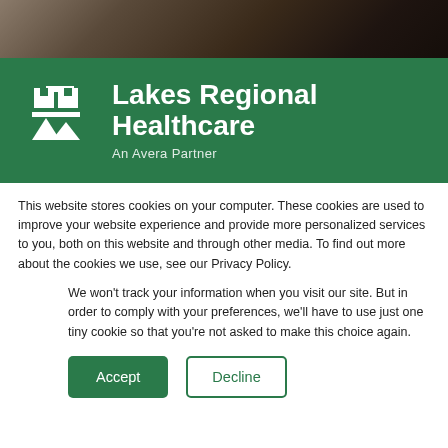[Figure (photo): Dark background photo strip at top of page, appears to be a cropped section of a person or scene with dark tones]
[Figure (logo): Lakes Regional Healthcare logo on green banner background. White cross/snowflake icon on left, text 'Lakes Regional Healthcare' in white bold font, 'An Avera Partner' subtitle in lighter white text below]
This website stores cookies on your computer. These cookies are used to improve your website experience and provide more personalized services to you, both on this website and through other media. To find out more about the cookies we use, see our Privacy Policy.
We won't track your information when you visit our site. But in order to comply with your preferences, we'll have to use just one tiny cookie so that you're not asked to make this choice again.
Accept
Decline